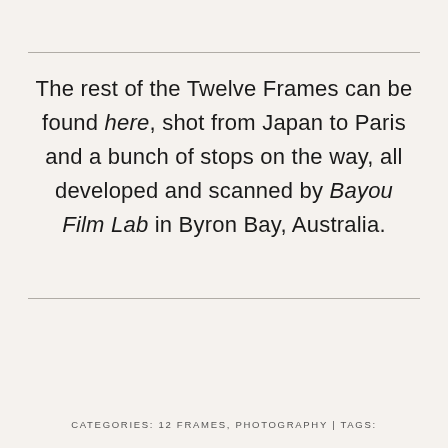The rest of the Twelve Frames can be found here, shot from Japan to Paris and a bunch of stops on the way, all developed and scanned by Bayou Film Lab in Byron Bay, Australia.
CATEGORIES: 12 FRAMES, PHOTOGRAPHY | TAGS: